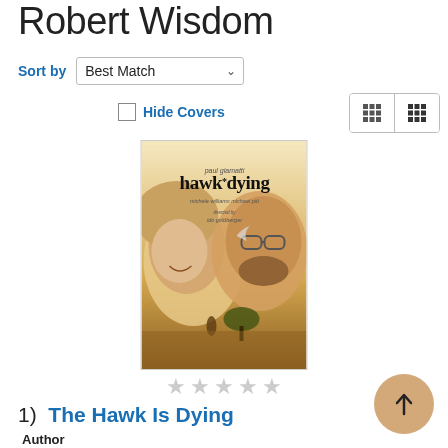Robert Wisdom
Sort by   Best Match
Hide Covers
[Figure (photo): Movie cover for 'The Hawk Is Dying' featuring two people's faces and title text 'hawk dying' with credits for Paul Giamatti, Michele Williams, Michael Pitt, and director Ido Goldberger.]
☆☆☆☆☆
1)  The Hawk Is Dying
Author
Giamatti, Paul
Language